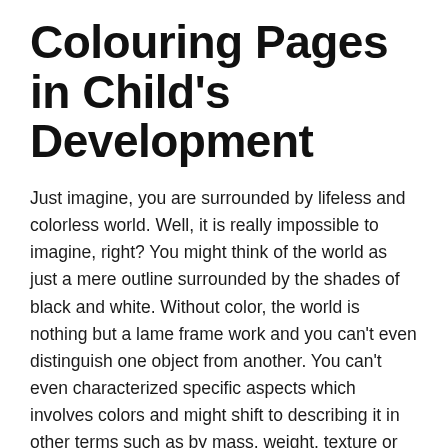Colouring Pages in Child's Development
Just imagine, you are surrounded by lifeless and colorless world. Well, it is really impossible to imagine, right? You might think of the world as just a mere outline surrounded by the shades of black and white. Without color, the world is nothing but a lame frame work and you can't even distinguish one object from another. You can't even characterized specific aspects which involves colors and might shift to describing it in other terms such as by mass, weight, texture or any other. You just can't think out of these thoughts.
Because you have already figured out the importance of colours in your life, it would be good to teach the kids how important it is and be able to understand different terms and concept regarding colours such as secondary and primary